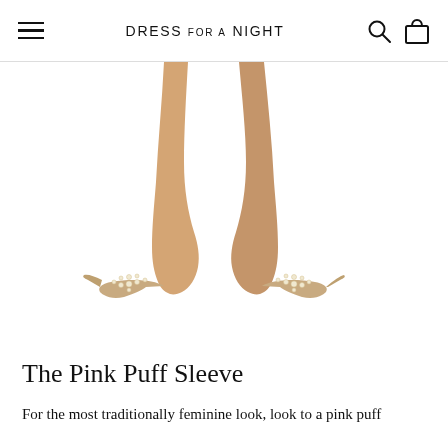DRESS FOR A NIGHT
[Figure (photo): Model's lower legs wearing sparkly/pearl-embellished pointed-toe flat shoes against a white background]
The Pink Puff Sleeve
For the most traditionally feminine look, look to a pink puff